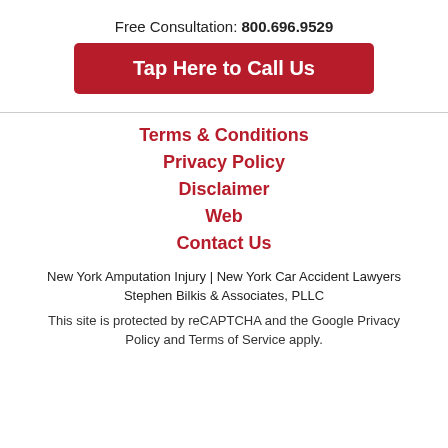Free Consultation: 800.696.9529
Tap Here to Call Us
Terms & Conditions
Privacy Policy
Disclaimer
Web
Contact Us
New York Amputation Injury | New York Car Accident Lawyers Stephen Bilkis & Associates, PLLC
This site is protected by reCAPTCHA and the Google Privacy Policy and Terms of Service apply.